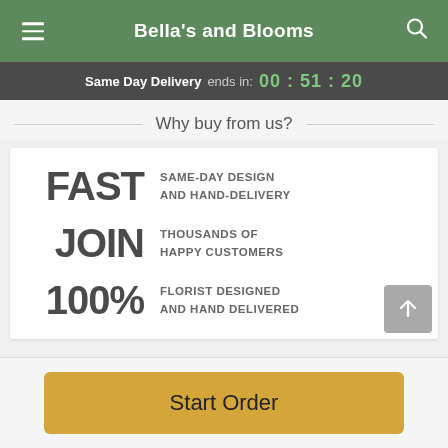Bella's and Blooms
Same Day Delivery ends in: 00 : 51 : 20
Why buy from us?
FAST  SAME-DAY DESIGN AND HAND-DELIVERY
JOIN  THOUSANDS OF HAPPY CUSTOMERS
100%  FLORIST DESIGNED AND HAND DELIVERED
Start Order